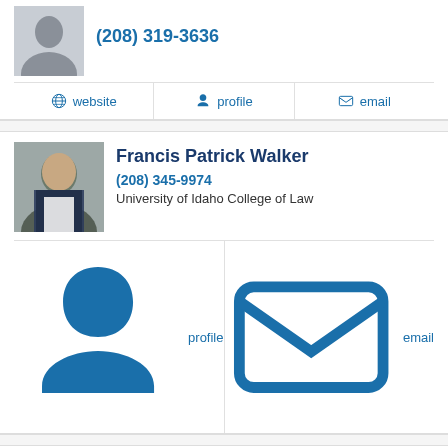[Figure (photo): Partial photo of a man in a suit, top of first attorney card]
(208) 319-3636
website  profile  email
Francis Patrick Walker
(208) 345-9974
University of Idaho College of Law
profile  email
Richard Blok
(208) 395-0011
Rutgers School of Law-Camden
website  profile  email